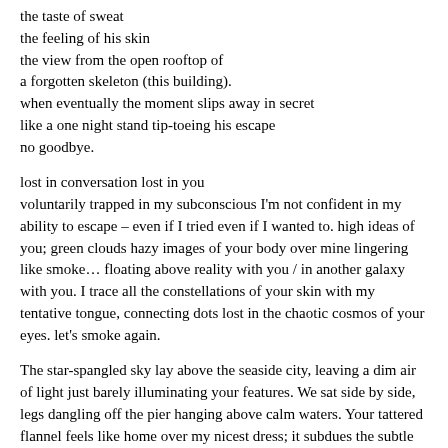the taste of sweat
the feeling of his skin
the view from the open rooftop of
a forgotten skeleton (this building).
when eventually the moment slips away in secret
like a one night stand tip-toeing his escape
no goodbye.
lost in conversation lost in you
voluntarily trapped in my subconscious I'm not confident in my ability to escape – even if I tried even if I wanted to. high ideas of you; green clouds hazy images of your body over mine lingering like smoke… floating above reality with you / in another galaxy with you. I trace all the constellations of your skin with my tentative tongue, connecting dots lost in the chaotic cosmos of your eyes. let's smoke again.
The star-spangled sky lay above the seaside city, leaving a dim air of light just barely illuminating your features. We sat side by side, legs dangling off the pier hanging above calm waters. Your tattered flannel feels like home over my nicest dress; it subdues the subtle chill running down the spine of the summer evening. We tilt our heads toward the starscope, breathing in deep enjoying a buzz from the Dark and Stormies we sipped at dinner. I was 19; you made me feel old and young at the same time.